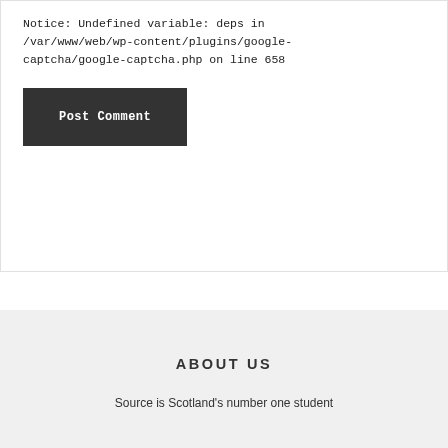Notice: Undefined variable: deps in /var/www/web/wp-content/plugins/google-captcha/google-captcha.php on line 658
Post Comment
ABOUT US
Source is Scotland's number one student